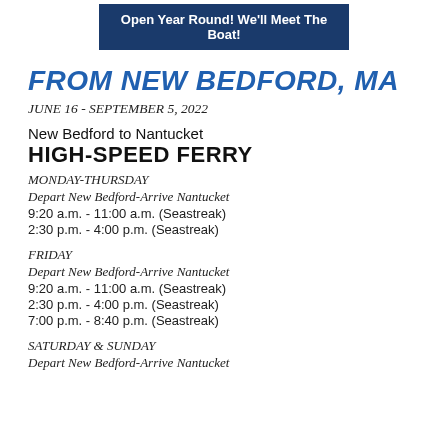Open Year Round! We'll Meet The Boat!
FROM NEW BEDFORD, MA
JUNE 16 - SEPTEMBER 5, 2022
New Bedford to Nantucket HIGH-SPEED FERRY
MONDAY-THURSDAY
Depart New Bedford-Arrive Nantucket
9:20 a.m. - 11:00 a.m. (Seastreak)
2:30 p.m. - 4:00 p.m. (Seastreak)
FRIDAY
Depart New Bedford-Arrive Nantucket
9:20 a.m. - 11:00 a.m. (Seastreak)
2:30 p.m. - 4:00 p.m. (Seastreak)
7:00 p.m. - 8:40 p.m. (Seastreak)
SATURDAY & SUNDAY
Depart New Bedford-Arrive Nantucket